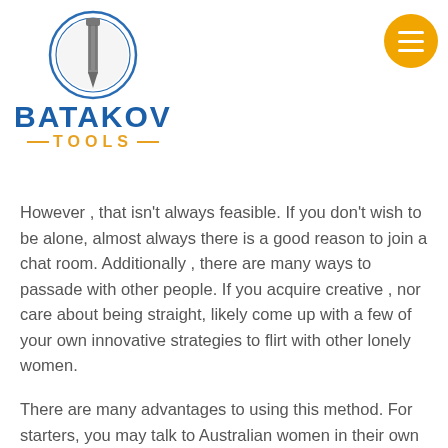[Figure (logo): Batakov Tools logo: circular drill bit icon above bold blue text 'BATAKOV' and orange dashed text '—TOOLS—']
However , that isn't always feasible. If you don't wish to be alone, almost always there is a good reason to join a chat room. Additionally , there are many ways to passade with other people. If you acquire creative , nor care about being straight, likely come up with a few of your own innovative strategies to flirt with other lonely women.
There are many advantages to using this method. For starters, you may talk to Australian women in their own country. They speak chinese, which is a big advantage above women in the US or Europe where English language isn't the first language. For second, you can promote yourself to additional cultures. Chatting with single young ladies in Australia may expose one to a whole fresh way of